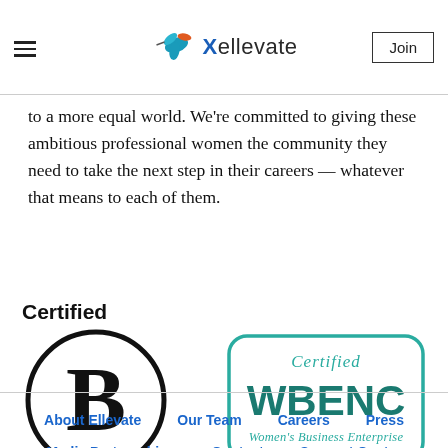Ellevate — Join
to a more equal world. We’re committed to giving these ambitious professional women the community they need to take the next step in their careers — whatever that means to each of them.
[Figure (logo): Certified B Corporation logo: bold 'Certified' text, large circle with letter B inside, 'Corporation' text below with horizontal line underline]
[Figure (logo): Certified WBENC Women's Business Enterprise logo: teal rounded-rectangle border containing italic 'Certified' above bold 'WBENC' and smaller 'Women’s Business Enterprise' text]
About Ellevate   Our Team   Careers   Press   Media Partnerships   Contact   Support Center   Event Waiver